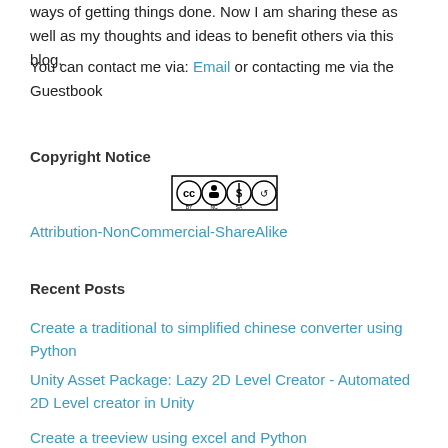ways of getting things done. Now I am sharing these as well as my thoughts and ideas to benefit others via this blog.
You can contact me via: Email or contacting me via the Guestbook
Copyright Notice
[Figure (logo): Creative Commons Attribution-NonCommercial-ShareAlike license badge with CC BY NC SA icons in black and white]
Attribution-NonCommercial-ShareAlike
Recent Posts
Create a traditional to simplified chinese converter using Python
Unity Asset Package: Lazy 2D Level Creator - Automated 2D Level creator in Unity
Create a treeview using excel and Python